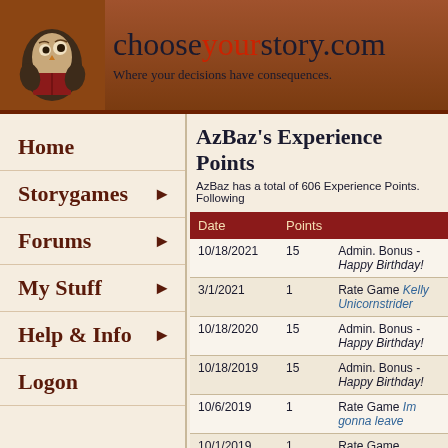chooseyourstory.com — Where your decisions have consequences.
Home
Storygames ▶
Forums ▶
My Stuff ▶
Help & Info ▶
Logon
AzBaz's Experience Points
AzBaz has a total of 606 Experience Points. Following
| Date | Points |  |
| --- | --- | --- |
| 10/18/2021 | 15 | Admin. Bonus - Happy Birthday! |
| 3/1/2021 | 1 | Rate Game Kelly Unicornstrider |
| 10/18/2020 | 15 | Admin. Bonus - Happy Birthday! |
| 10/18/2019 | 15 | Admin. Bonus - Happy Birthday! |
| 10/6/2019 | 1 | Rate Game Im gonna leave |
| 10/1/2019 | 1 | Rate Game Private Game for Na |
| 8/19/2019 | 20 | Accept Feature Description for w |
| 7/17/2019 | 1 | Rate Game Attack on the Castle |
| 7/17/2019 | 1 | Rate Game Stranded II |
| 7/16/2019 | 1 | Rate Game Finding the Muse |
| 7/16/2019 | 10 | Admin. Bonus - Most Commend |